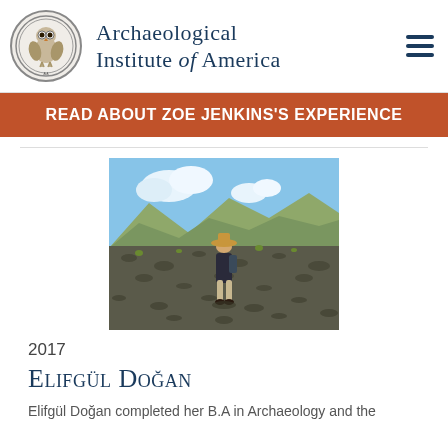Archaeological Institute of America
READ ABOUT ZOE JENKINS'S EXPERIENCE
[Figure (photo): Person standing in an open rocky landscape with mountains and blue sky in background, wearing a wide-brim hat and backpack]
2017
Elifgül Doğan
Elifgül Doğan completed her B.A in Archaeology and the